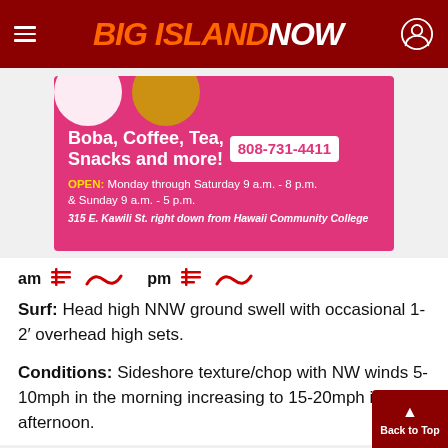Big Island Now
[Figure (infographic): Advertisement for a boba/coffee/tea shop. Pink background with circular photo frames. Text: Boba, Coffee, Tea, Snacks and more! Phone: 808-731-4411. OPEN: Monday through Saturday 9 a.m. - 8 p.m. & Sunday 9 a.m. - 5 p.m. 315 E. Kawili St. right down from Hawaii Community College]
am [wind/swell icons] pm [wind/swell icons]
Surf: Head high NNW ground swell with occasional 1-2’ overhead high sets.
Conditions: Sideshore texture/chop with NW winds 5-10mph in the morning increasing to 15-20mph in the afternoon.